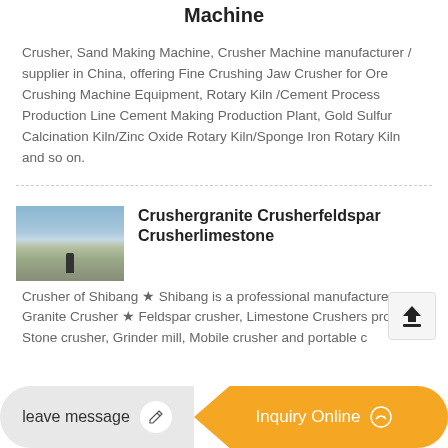Machine
Crusher, Sand Making Machine, Crusher Machine manufacturer / supplier in China, offering Fine Crushing Jaw Crusher for Ore Crushing Machine Equipment, Rotary Kiln /Cement Process Production Line Cement Making Production Plant, Gold Sulfur Calcination Kiln/Zinc Oxide Rotary Kiln/Sponge Iron Rotary Kiln and so on.
[Figure (photo): Outdoor photo of a quarry or stone crushing site with a person standing and machinery in background]
Crushergranite Crusherfeldspar Crusherlimestone
Crusher of Shibang ★ Shibang is a professional manufacturer of Granite Crusher ★ Feldspar crusher, Limestone Crushers produce Stone crusher, Grinder mill, Mobile crusher and portable crusher from Shibang.